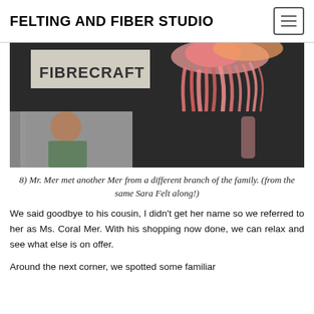FELTING AND FIBER STUDIO
[Figure (photo): Collage of two photos: top portion shows pink/coral fibrous felted jellyfish-like artwork hanging against a dark background with a 'FIBRECRAFT' sign visible; bottom left shows a man looking at something in a market/fair setting.]
8) Mr. Mer met another Mer from a different branch of the family. (from the same Sara Felt along!)
We said goodbye to his cousin, I didn't get her name so we referred to her as Ms. Coral Mer. With his shopping now done, we can relax and see what else is on offer.
Around the next corner, we spotted some familiar